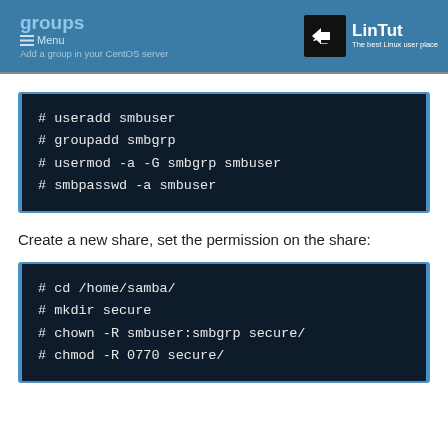groups
Menu
Add a group in your CentOS server
[Figure (logo): LinTut logo - black terminal icon with >_ symbol and text 'LinTut - The best Linux user place']
# useradd smbuser
# groupadd smbgrp
# usermod -a -G smbgrp smbuser
# smbpasswd -a smbuser
Create a new share, set the permission on the share:
# cd /home/samba/
# mkdir secure
# chown -R smbuser:smbgrp secure/
# chmod -R 0770 secure/